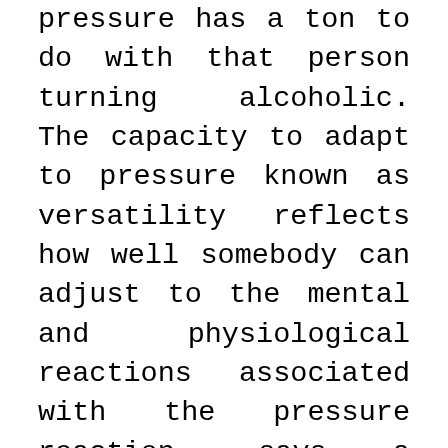pressure has a ton to do with that person turning alcoholic. The capacity to adapt to pressure known as versatility reflects how well somebody can adjust to the mental and physiological reactions associated with the pressure reaction, says a NIAAA report. The technique for dealing with pressure can rely upon one's character, heredity and way of life. However, idealistic individuals stay positive and utilize different productive strategies to tackle the issue. The individuals who are tough have